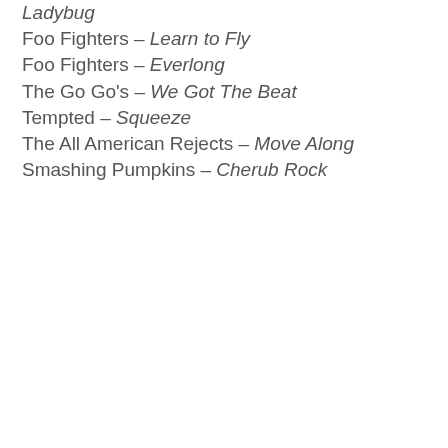Ladybug
Foo Fighters – Learn to Fly
Foo Fighters – Everlong
The Go Go's – We Got The Beat
Tempted – Squeeze
The All American Rejects – Move Along
Smashing Pumpkins – Cherub Rock